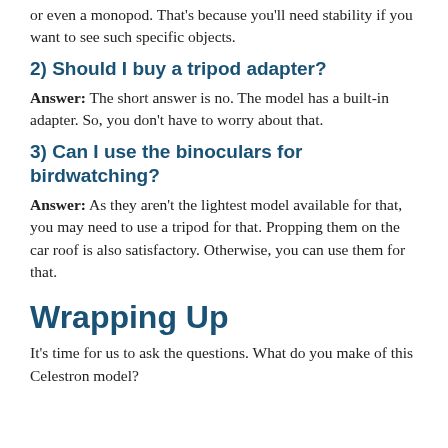or even a monopod. That's because you'll need stability if you want to see such specific objects.
2) Should I buy a tripod adapter?
Answer: The short answer is no. The model has a built-in adapter. So, you don't have to worry about that.
3) Can I use the binoculars for birdwatching?
Answer: As they aren't the lightest model available for that, you may need to use a tripod for that. Propping them on the car roof is also satisfactory. Otherwise, you can use them for that.
Wrapping Up
It's time for us to ask the questions. What do you make of this Celestron model?